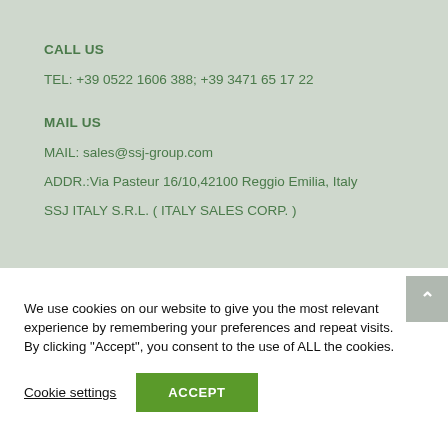CALL US
TEL: +39 0522 1606 388; +39 3471 65 17 22
MAIL US
MAIL: sales@ssj-group.com
ADDR.:Via Pasteur 16/10,42100 Reggio Emilia, Italy
SSJ ITALY S.R.L. ( ITALY SALES CORP. )
We use cookies on our website to give you the most relevant experience by remembering your preferences and repeat visits. By clicking “Accept”, you consent to the use of ALL the cookies.
Cookie settings
ACCEPT